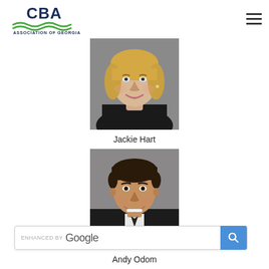[Figure (logo): Community Bankers Association of Georgia logo with CBA text and green wave graphic]
[Figure (photo): Headshot photo of Jackie Hart, a woman with blonde hair wearing a black jacket]
Jackie Hart
[Figure (photo): Headshot photo of Andy Odom, a man in a dark suit with short dark hair, smiling]
[Figure (other): Enhanced by Google search bar with blue search button]
Andy Odom